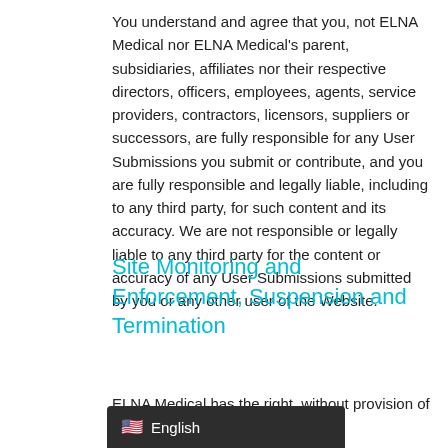You understand and agree that you, not ELNA Medical nor ELNA Medical's parent, subsidiaries, affiliates nor their respective directors, officers, employees, agents, service providers, contractors, licensors, suppliers or successors, are fully responsible for any User Submissions you submit or contribute, and you are fully responsible and legally liable, including to any third party, for such content and its accuracy. We are not responsible or legally liable to any third party for the content or accuracy of any User Submissions submitted by you or any other user of the Website.
Site Monitoring and Enforcement, Suspension and Termination
ELNA Medical has the right, without provision of